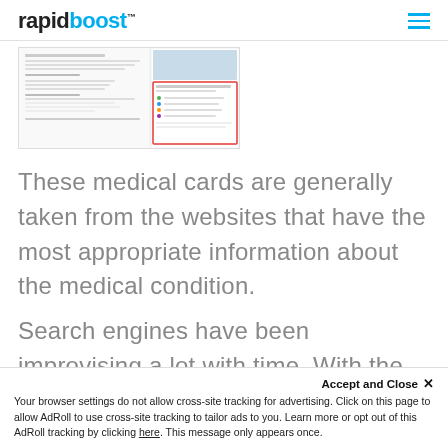rapidboost™
[Figure (screenshot): Screenshot of a medical information web search result page showing a medical knowledge card with symptoms and links about a medical condition.]
These medical cards are generally taken from the websites that have the most appropriate information about the medical condition.
Search engines have been improvising a lot with time. With the introduction of artificial intelligence and machine learning, search engines are now able to understand their users
Accept and Close ✕
Your browser settings do not allow cross-site tracking for advertising. Click on this page to allow AdRoll to use cross-site tracking to tailor ads to you. Learn more or opt out of this AdRoll tracking by clicking here. This message only appears once.